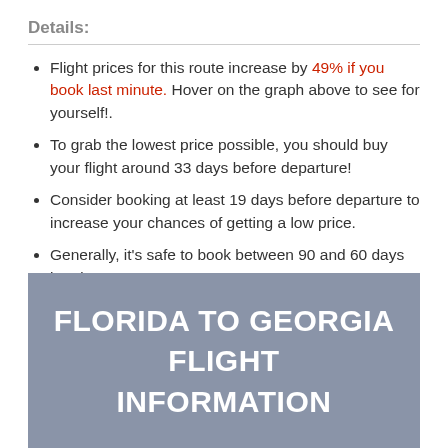Details:
Flight prices for this route increase by 49% if you book last minute. Hover on the graph above to see for yourself!.
To grab the lowest price possible, you should buy your flight around 33 days before departure!
Consider booking at least 19 days before departure to increase your chances of getting a low price.
Generally, it's safe to book between 90 and 60 days in advance.
FLORIDA TO GEORGIA FLIGHT INFORMATION